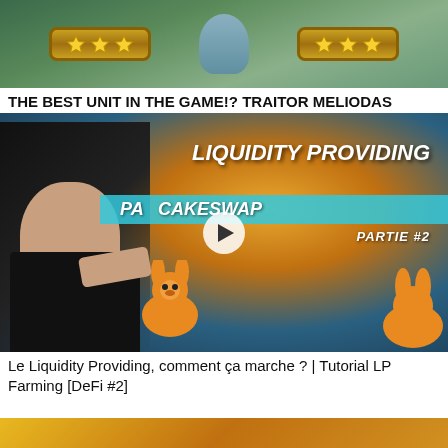[Figure (screenshot): Video thumbnail for Seven Deadly Sins: Grand Cross game video, showing star badge decorations on a game background]
THE BEST UNIT IN THE GAME!? TRAITOR MELIODAS DESTROYS PvP! Seven Deadly Sins: Grand Cross
[Figure (screenshot): Video thumbnail for Liquidity Providing PancakeSwap Partie #2 tutorial, showing a man pointing at the camera with PancakeSwap mascots and text overlay]
Le Liquidity Providing, comment ça marche ? | Tutorial LP Farming [DeFi #2]
[Figure (screenshot): Partially visible video thumbnail at bottom of page, showing a yellow and gold themed image]